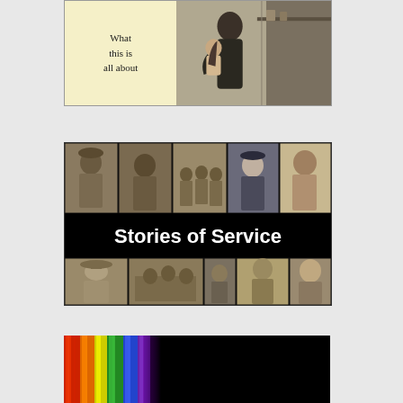[Figure (photo): Book or exhibit panel with cream-colored left section reading 'What this is all about' in serif font, and a black-and-white historical photograph on the right showing a woman holding a child, possibly a nurse or caregiver scene.]
[Figure (photo): Collage banner titled 'Stories of Service' with black background text in bold white font. Surrounding the text are multiple sepia-toned and black-and-white historical photographs of military servicemen and servicewomen from what appears to be World War I era.]
[Figure (photo): Colorful spectral image showing rainbow-colored vertical streaks (red, orange, yellow, green, blue, purple) on the left portion against a black background, appearing to be a spectrograph or similar scientific visualization.]